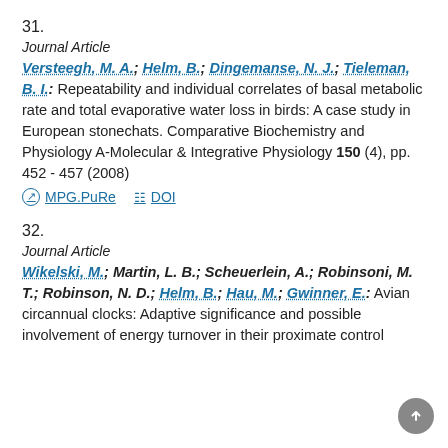31.
Journal Article
Versteegh, M. A.; Helm, B.; Dingemanse, N. J.; Tieleman, B. I.: Repeatability and individual correlates of basal metabolic rate and total evaporative water loss in birds: A case study in European stonechats. Comparative Biochemistry and Physiology A-Molecular & Integrative Physiology 150 (4), pp. 452 - 457 (2008)
MPG.PuRe   DOI
32.
Journal Article
Wikelski, M.; Martin, L. B.; Scheuerlein, A.; Robinsoni, M. T.; Robinson, N. D.; Helm, B.; Hau, M.; Gwinner, E.: Avian circannual clocks: Adaptive significance and possible involvement of energy turnover in their proximate control